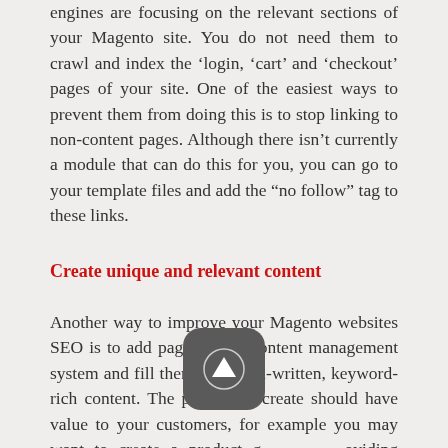engines are focusing on the relevant sections of your Magento site. You do not need them to crawl and index the 'login, 'cart' and 'checkout' pages of your site. One of the easiest ways to prevent them from doing this is to stop linking to non-content pages. Although there isn't currently a module that can do this for you, you can go to your template files and add the “no follow” tag to these links.
Create unique and relevant content
Another way to improve your Magento websites SEO is to add pages to the content management system and fill them with well-written, keyword-rich content. The pages you create should have value to your customers, for example you may want to create a product g…oviding information abou… use your products. You coul… vary your content by embedding a ‘how-to’ video. Presenting